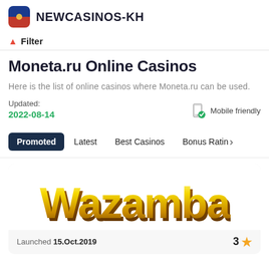NEWCASINOS-KH
Filter
Moneta.ru Online Casinos
Here is the list of online casinos where Moneta.ru can be used.
Updated: 2022-08-14
Mobile friendly
Promoted
Latest
Best Casinos
Bonus Rating >
[Figure (logo): Wazamba casino logo in large yellow/gold 3D-style text]
Launched 15.Oct.2019	3 ★